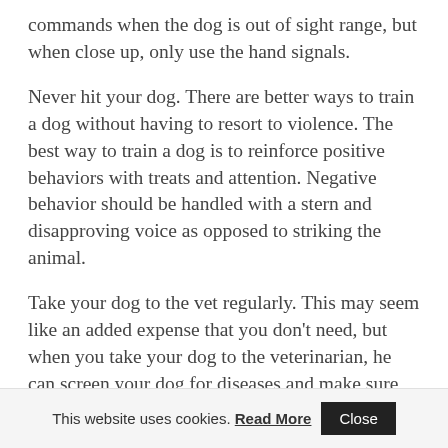commands when the dog is out of sight range, but when close up, only use the hand signals.
Never hit your dog. There are better ways to train a dog without having to resort to violence. The best way to train a dog is to reinforce positive behaviors with treats and attention. Negative behavior should be handled with a stern and disapproving voice as opposed to striking the animal.
Take your dog to the vet regularly. This may seem like an added expense that you don't need, but when you take your dog to the veterinarian, he can screen your dog for diseases and make sure he is in the best of
This website uses cookies. Read More  Close